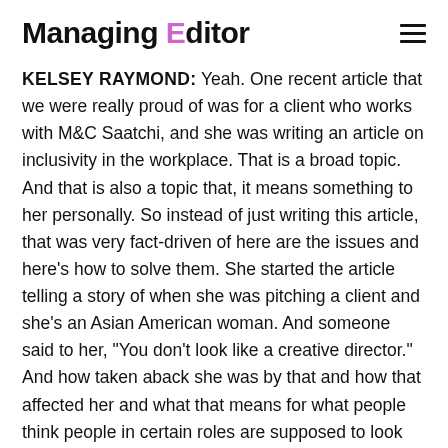Managing Editor
KELSEY RAYMOND: Yeah. One recent article that we were really proud of was for a client who works with M&C Saatchi, and she was writing an article on inclusivity in the workplace. That is a broad topic. And that is also a topic that, it means something to her personally. So instead of just writing this article, that was very fact-driven of here are the issues and here’s how to solve them. She started the article telling a story of when she was pitching a client and she’s an Asian American woman. And someone said to her, “You don’t look like a creative director.” And how taken aback she was by that and how that affected her and what that means for what people think people in certain roles are supposed to look like. That story was really powerful and it was really personal to her. So that set the stage for that article to say, she’s not just saying,